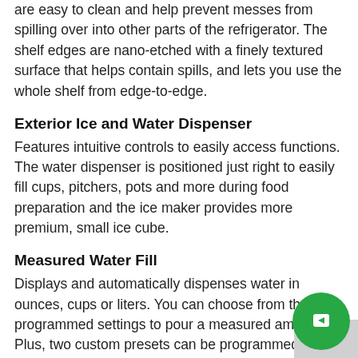are easy to clean and help prevent messes from spilling over into other parts of the refrigerator. The shelf edges are nano-etched with a finely textured surface that helps contain spills, and lets you use the whole shelf from edge-to-edge.
Exterior Ice and Water Dispenser
Features intuitive controls to easily access functions. The water dispenser is positioned just right to easily fill cups, pitchers, pots and more during food preparation and the ice maker provides more premium, small ice cube.
Measured Water Fill
Displays and automatically dispenses water in ounces, cups or liters. You can choose from three programmed settings to pour a measured amount. Plus, two custom presets can be programmed for items you frequently fill like a coffee pot or water bottle.
In-Door-Ice® System
adds interior room in the refrigerator with a slim-pro… bin that mounts on the inside left door, keeping it out of the refrigerator compartment. This space-saving design